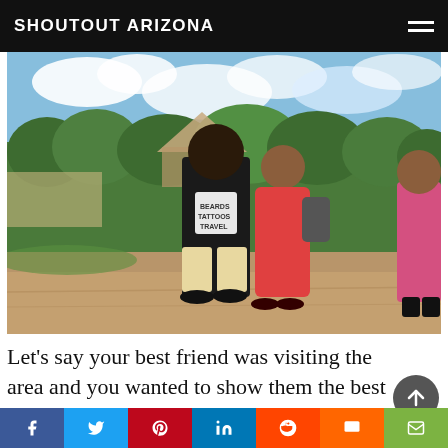SHOUTOUT ARIZONA
[Figure (photo): Two people posing together outdoors at ancient ruins site. A tall man wearing a black 'Beards Tattoos & Travel' t-shirt and khaki shorts stands next to a woman in a red floral dress with glasses and earrings. Green trees and a pyramid-like structure visible in background under a partly cloudy sky. Another person visible on right edge.]
Let's say your best friend was visiting the area and you wanted to show them the best time ever. Where would you take them? Give us a little itinerary – it was a week long trip,